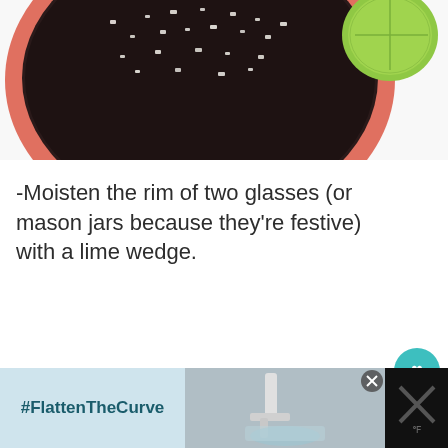[Figure (photo): Top-down view of a bowl with dark grain/chia seeds with coarse salt, and a lime wedge visible in the upper right corner, on a white surface.]
-Moisten the rim of two glasses (or mason jars because they're festive) with a lime wedge.
[Figure (infographic): Floating UI elements: teal heart/like button showing count of 5, and a share button (white circle with share icon).]
[Figure (infographic): What's Next panel showing a thumbnail of Super Smooth Chipotle... recipe with arrow label.]
[Figure (infographic): Bottom banner advertisement featuring #FlattenTheCurve text on light blue background, a photo of handwashing, and an X close button.]